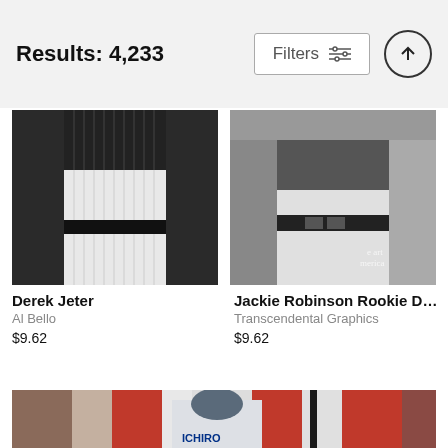Results: 4,233  Filters  ↑
[Figure (photo): Derek Jeter in New York Yankees pinstripe uniform, torso/body shot, black and white tones]
[Figure (photo): Jackie Robinson in Brooklyn Dodgers uniform, vintage black and white photo, Transcendental Graphics watermark]
Derek Jeter
Al Bello
$9.62
Jackie Robinson Rookie Dodger...
Transcendental Graphics
$9.62
[Figure (photo): Ichiro Suzuki in Seattle Mariners uniform holding a baseball bat upright, crowd in background]